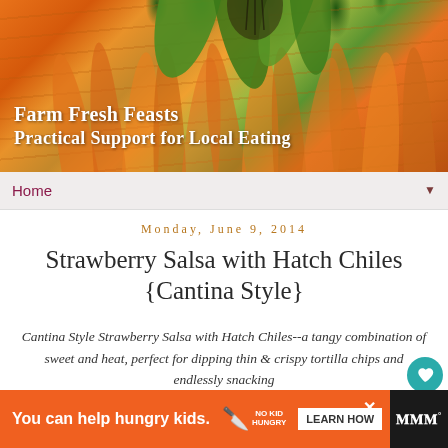[Figure (photo): Header banner with sunflower/corn image in orange and green tones]
Farm Fresh Feasts
Practical Support for Local Eating
Home ▼
Monday, June 9, 2014
Strawberry Salsa with Hatch Chiles {Cantina Style}
Cantina Style Strawberry Salsa with Hatch Chiles--a tangy combination of sweet and heat, perfect for dipping thin & crispy tortilla chips and endlessly snacking
[Figure (photo): Food photo showing salsa in a jar with tortilla chips]
You can help hungry kids. NO KID HUNGRY LEARN HOW